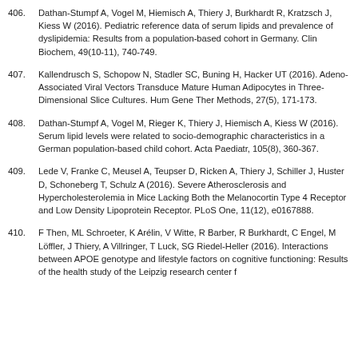406. Dathan-Stumpf A, Vogel M, Hiemisch A, Thiery J, Burkhardt R, Kratzsch J, Kiess W (2016). Pediatric reference data of serum lipids and prevalence of dyslipidemia: Results from a population-based cohort in Germany. Clin Biochem, 49(10-11), 740-749.
407. Kallendrusch S, Schopow N, Stadler SC, Buning H, Hacker UT (2016). Adeno-Associated Viral Vectors Transduce Mature Human Adipocytes in Three-Dimensional Slice Cultures. Hum Gene Ther Methods, 27(5), 171-173.
408. Dathan-Stumpf A, Vogel M, Rieger K, Thiery J, Hiemisch A, Kiess W (2016). Serum lipid levels were related to socio-demographic characteristics in a German population-based child cohort. Acta Paediatr, 105(8), 360-367.
409. Lede V, Franke C, Meusel A, Teupser D, Ricken A, Thiery J, Schiller J, Huster D, Schoneberg T, Schulz A (2016). Severe Atherosclerosis and Hypercholesterolemia in Mice Lacking Both the Melanocortin Type 4 Receptor and Low Density Lipoprotein Receptor. PLoS One, 11(12), e0167888.
410. F Then, ML Schroeter, K Arélin, V Witte, R Barber, R Burkhardt, C Engel, M Löffler, J Thiery, A Villringer, T Luck, SG Riedel-Heller (2016). Interactions between APOE genotype and lifestyle factors on cognitive functioning: Results of the health study of the Leipzig research center f...